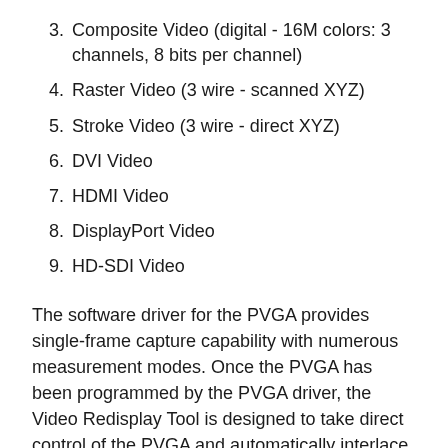3. Composite Video (digital - 16M colors: 3 channels, 8 bits per channel)
4. Raster Video (3 wire - scanned XYZ)
5. Stroke Video (3 wire - direct XYZ)
6. DVI Video
7. HDMI Video
8. DisplayPort Video
9. HD-SDI Video
The software driver for the PVGA provides single-frame capture capability with numerous measurement modes. Once the PVGA has been programmed by the PVGA driver, the Video Redisplay Tool is designed to take direct control of the PVGA and automatically interlace the frame capture sequence with simultaneous data uploads. Upon completion of each data upload, the image is manipulated by the VRT post-processor where it may be enhanced